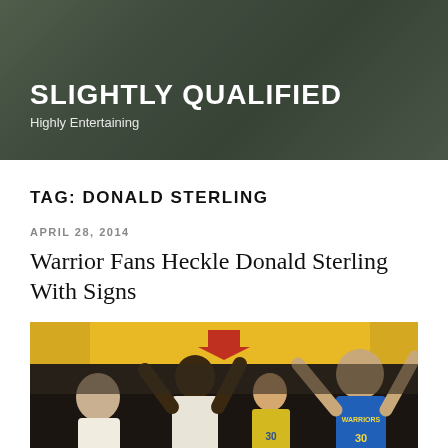SLIGHTLY QUALIFIED
Highly Entertaining
TAG: DONALD STERLING
APRIL 28, 2014
Warrior Fans Heckle Donald Sterling With Signs
[Figure (photo): Photo of Golden State Warriors fans in team jerseys raising their arms holding signs, with a yellow banner visible above them.]
He has come to realize that he must defend himself against the most recent...